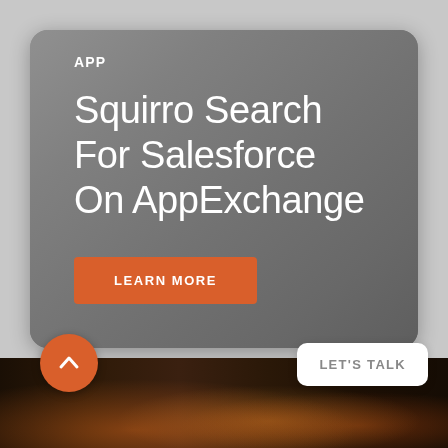APP
Squirro Search For Salesforce On AppExchange
LEARN MORE
[Figure (photo): City skyline at night with warm orange lights]
LET'S TALK